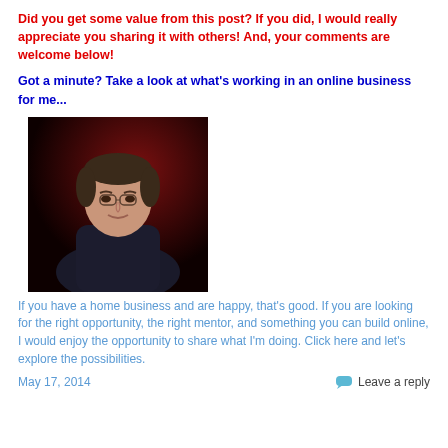Did you get some value from this post? If you did, I would really appreciate you sharing it with others! And, your comments are welcome below!
Got a minute? Take a look at what's working in an online business for me...
[Figure (photo): Portrait photo of a middle-aged man in a dark shirt against a dark red background]
If you have a home business and are happy, that's good. If you are looking for the right opportunity, the right mentor, and something you can build online, I would enjoy the opportunity to share what I'm doing. Click here and let's explore the possibilities.
May 17, 2014   Leave a reply